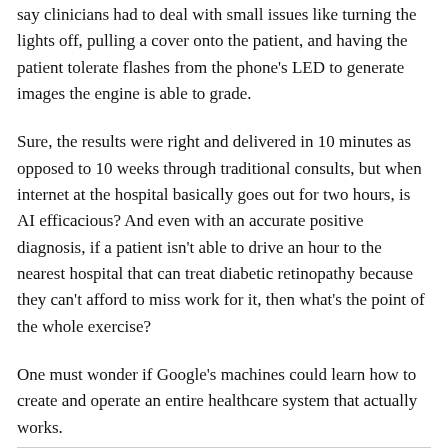say clinicians had to deal with small issues like turning the lights off, pulling a cover onto the patient, and having the patient tolerate flashes from the phone's LED to generate images the engine is able to grade.
Sure, the results were right and delivered in 10 minutes as opposed to 10 weeks through traditional consults, but when internet at the hospital basically goes out for two hours, is AI efficacious? And even with an accurate positive diagnosis, if a patient isn't able to drive an hour to the nearest hospital that can treat diabetic retinopathy because they can't afford to miss work for it, then what's the point of the whole exercise?
One must wonder if Google's machines could learn how to create and operate an entire healthcare system that actually works.